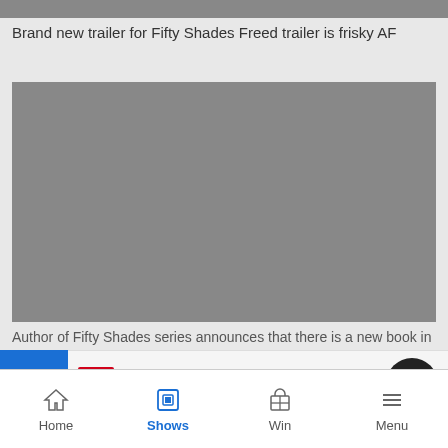[Figure (photo): Top image placeholder, partially visible gray rectangle at the top of the page]
Brand new trailer for Fifty Shades Freed trailer is frisky AF
[Figure (photo): Large gray image placeholder representing a video or photo]
Author of Fifty Shades series announces that there is a new book in
LIVE Jam Packed Workday with Georgia
COTERIE - COOL IT DOWN
Home  Shows  Win  Menu